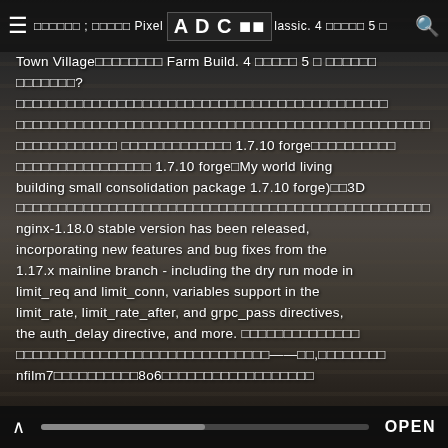≡ □□□□□□ ; □□□□□ Pixel App Doke 3 0 Classic. 4 □□□□□ 5 □
Town Village□□□□□□□□ Farm Build. 4 □□□□□ 5 □ □□□□□□□ □□□□□□□?□□□□□□□□□□□□□□□□□□□□□□□□□□□□□□□□□□□□ □□□□□□□□□□□□□□□□□□□□□□□□□□□□□□□□□□□□□□□□□□□□□ □□□□□□□□□□□□ □□□□□□□□□□□□□ 1.7.10 forge□□□□□□□□□□ □□□□□□□□□□□□□□□□ 1.7.10 forge□My world living building small consolidation package 1.7.10 forge)□□3D □□□□□□□□□□□□□□□□□□□□□□□□□□□□□□□□□□□□□□□□□□□□ nginx-1.18.0 stable version has been released, incorporating new features and bug fixes from the 1.17.x mainline branch - including the dry run mode in limit_req and limit_conn, variables support in the limit_rate, limit_rate_after, and grpc_pass directives, the auth_delay directive, and more. □□□□□□□□□□□□□□ □□□□□□□□□□□□□□□□□□□□□□□□□□□□——□□,□□□□□□□□□ nfilm7□□□□□□□□□□8o6□□□□□□□□□□□□□□□□□□
∧ ▬▬▬▬▬▬▬▬▬▬▬▬▬▬▬ OPEN